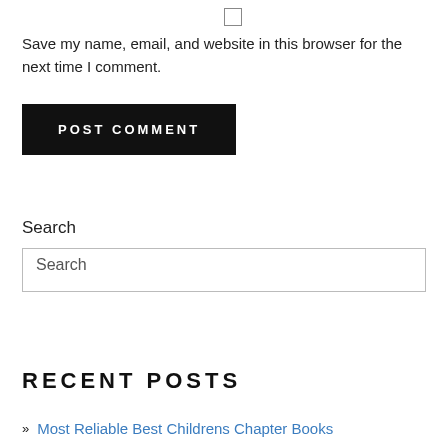[Figure (other): Checkbox UI element (unchecked)]
Save my name, email, and website in this browser for the next time I comment.
POST COMMENT
Search
Search
RECENT POSTS
Most Reliable Best Childrens Chapter Books